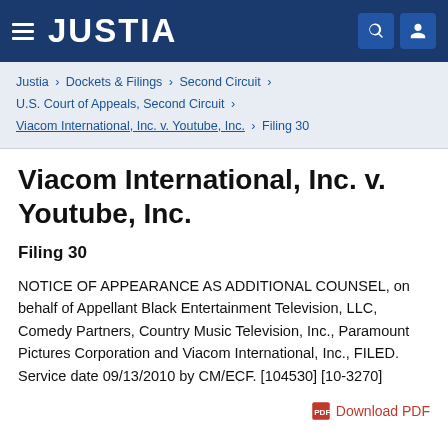JUSTIA
Justia › Dockets & Filings › Second Circuit › U.S. Court of Appeals, Second Circuit › Viacom International, Inc. v. Youtube, Inc. › Filing 30
Viacom International, Inc. v. Youtube, Inc.
Filing 30
NOTICE OF APPEARANCE AS ADDITIONAL COUNSEL, on behalf of Appellant Black Entertainment Television, LLC, Comedy Partners, Country Music Television, Inc., Paramount Pictures Corporation and Viacom International, Inc., FILED. Service date 09/13/2010 by CM/ECF. [104530] [10-3270]
Download PDF